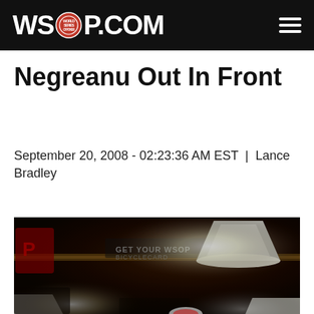WSOP.com
Negreanu Out In Front
September 20, 2008 - 02:23:36 AM EST  |  Lance Bradley
[Figure (photo): Blurry dark interior photo of a poker room/casino with overhead pendant lamps lit brightly against a dark background. Signage partially visible in background reading 'BICYCLECARD'. Red logo partially visible on left.]